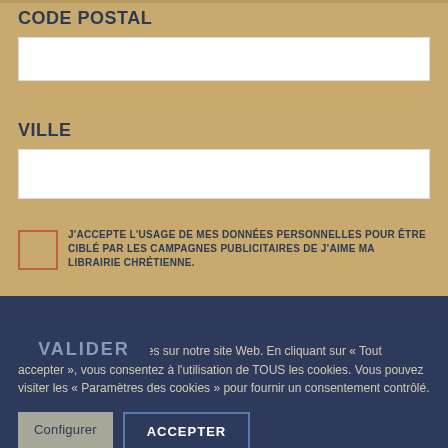CODE POSTAL
VILLE
J'ACCEPTE L'USAGE DE MES DONNÉES PERSONNELLES POUR ÊTRE CIBLÉ PAR LES CAMPAGNES PUBLICITAIRES DE J'AIME MA LIBRAIRIE CHRÉTIENNE.
VALIDER
Nous utilisons des cookies sur notre site Web. En cliquant sur « Tout accepter », vous consentez à l'utilisation de TOUS les cookies. Vous pouvez visiter les « Paramètres des cookies » pour fournir un consentement contrôlé.
Configurer
ACCEPTER